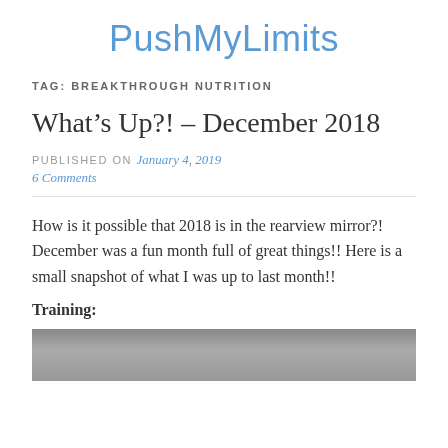PushMyLimits
TAG: BREAKTHROUGH NUTRITION
What’s Up?! – December 2018
PUBLISHED ON January 4, 2019
6 Comments
How is it possible that 2018 is in the rearview mirror?! December was a fun month full of great things!! Here is a small snapshot of what I was up to last month!!
Training:
[Figure (photo): Partial view of a photo, cropped at the bottom of the page]